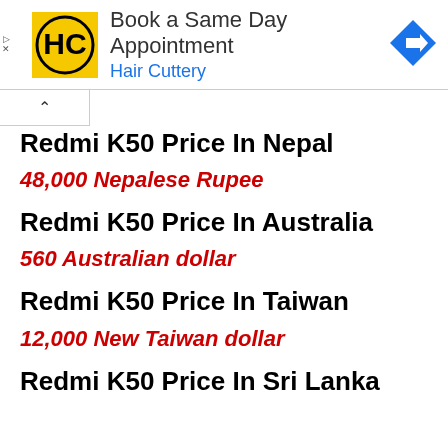[Figure (other): Advertisement banner for Hair Cuttery - Book a Same Day Appointment]
Redmi K50 Price In Nepal
48,000 Nepalese Rupee
Redmi K50 Price In Australia
560 Australian dollar
Redmi K50 Price In Taiwan
12,000 New Taiwan dollar
Redmi K50 Price In Sri Lanka